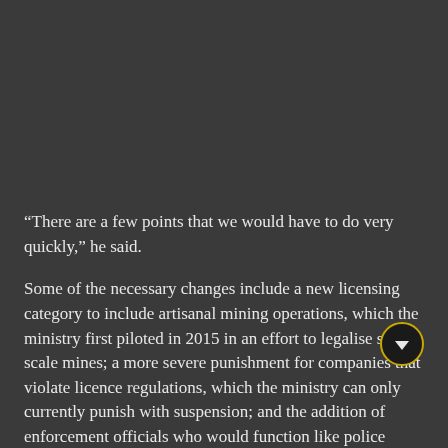“There are a few points that we would have to do very quickly,” he said.
Some of the necessary changes include a new licensing category to include artisanal mining operations, which the ministry first piloted in 2015 in an effort to legalise small-scale mines; a more severe punishment for companies that violate licence regulations, which the ministry can only currently punish with suspension; and the addition of enforcement officials who would function like police officers, assisting in crackdowns and taking larger cases to court.